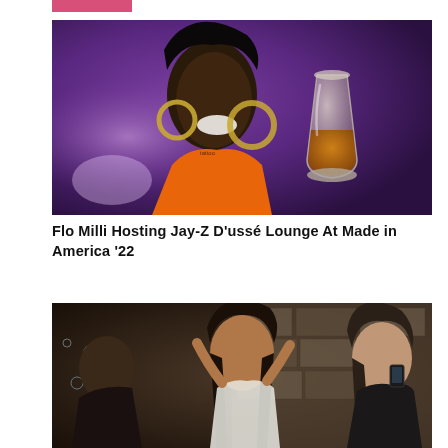[Figure (photo): Pink/magenta colored banner or label at top of page]
[Figure (photo): Flo Milli performing on stage with purple lighting, wearing orange outfit and large gold hoop earrings, with a whiskey glass emoji overlaid on the right side]
Flo Milli Hosting Jay-Z D'ussé Lounge At Made in America '22
[Figure (photo): Party scene with three women dancing and celebrating at what appears to be a nightclub or lounge event, with stone wall background]